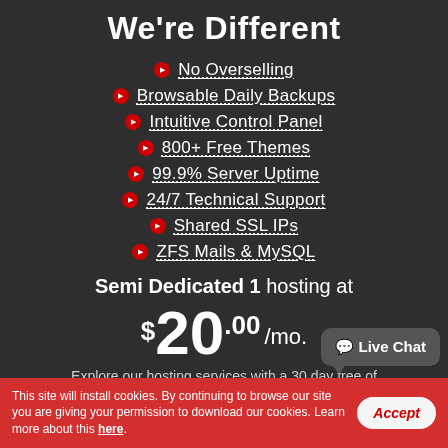We're Different
No Overselling
Browsable Daily Backups
Intuitive Control Panel
800+ Free Themes
99.9% Server Uptime
24/7 Technical Support
Shared SSL IPs
ZFS Mails & MySQL
Semi Dedicated 1 hosting at
$20.00 /mo.
Explore our hosting services with a 30 day free of
Live Chat
This site will install cookies. By continuing to browse our site you are giving your permission to download our cookies. Learn more about this here.